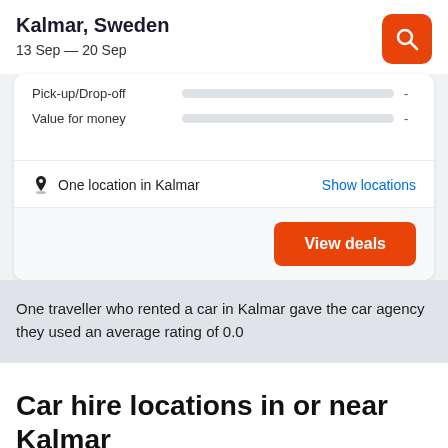Kalmar, Sweden
13 Sep — 20 Sep
Pick-up/Drop-off  -
Value for money  -
One location in Kalmar
Show locations
View deals
One traveller who rented a car in Kalmar gave the car agency they used an average rating of 0.0
Car hire locations in or near Kalmar